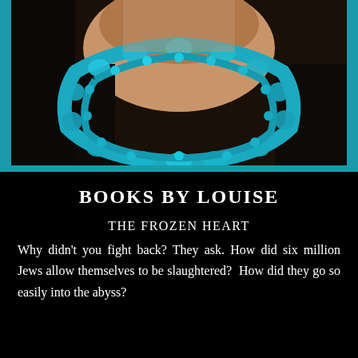[Figure (photo): Close-up photo of a person wearing multiple strands of turquoise/teal beaded necklaces against a dark top, with a teal border frame around the image.]
BOOKS BY LOUISE
THE FROZEN HEART
Why didn't you fight back? They ask. How did six million Jews allow themselves to be slaughtered?  How did they go so easily into the abyss?